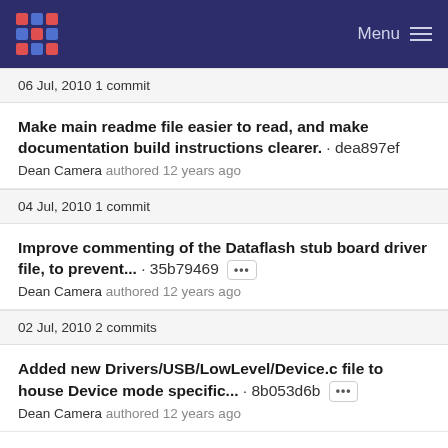Menu
06 Jul, 2010 1 commit
Make main readme file easier to read, and make documentation build instructions cleaner. · dea897ef
Dean Camera authored 12 years ago
04 Jul, 2010 1 commit
Improve commenting of the Dataflash stub board driver file, to prevent... · 35b79469 ···
Dean Camera authored 12 years ago
02 Jul, 2010 2 commits
Added new Drivers/USB/LowLevel/Device.c file to house Device mode specific... · 8b053d6b ···
Dean Camera authored 12 years ago
Move out RFCOMM channel structure init code to a seperate routine, to save on... · 31a34154 ···